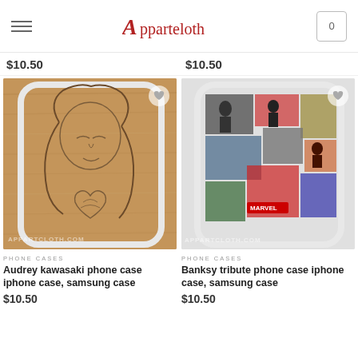Apparteloth
$10.50   $10.50
[Figure (photo): Phone case with Audrey Kawasaki art featuring girl with long hair and anatomical heart on wood-textured background]
[Figure (photo): Phone case with Banksy tribute collage artwork featuring street art crowd scene on white background]
PHONE CASES
Audrey kawasaki phone case iphone case, samsung case
$10.50
PHONE CASES
Banksy tribute phone case iphone case, samsung case
$10.50